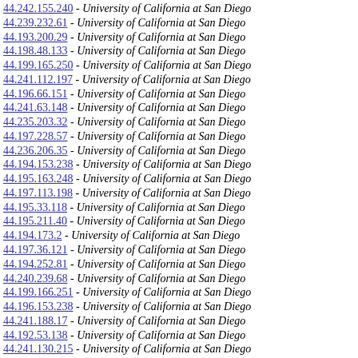44.242.155.240 - University of California at San Diego
44.239.232.61 - University of California at San Diego
44.193.200.29 - University of California at San Diego
44.198.48.133 - University of California at San Diego
44.199.165.250 - University of California at San Diego
44.241.112.197 - University of California at San Diego
44.196.66.151 - University of California at San Diego
44.241.63.148 - University of California at San Diego
44.235.203.32 - University of California at San Diego
44.197.228.57 - University of California at San Diego
44.236.206.35 - University of California at San Diego
44.194.153.238 - University of California at San Diego
44.195.163.248 - University of California at San Diego
44.197.113.198 - University of California at San Diego
44.195.33.118 - University of California at San Diego
44.195.211.40 - University of California at San Diego
44.194.173.2 - University of California at San Diego
44.197.36.121 - University of California at San Diego
44.194.252.81 - University of California at San Diego
44.240.239.68 - University of California at San Diego
44.199.166.251 - University of California at San Diego
44.196.153.238 - University of California at San Diego
44.241.188.17 - University of California at San Diego
44.192.53.138 - University of California at San Diego
44.241.130.215 - University of California at San Diego
44.195.157.242 - University of California at San Diego
44.197.69.154 - University of California at San Diego
44.237.203.32 - University of California at San Diego
44.232.121.206 - University of California at San Diego
44.196.31.116 - University of California at San Diego